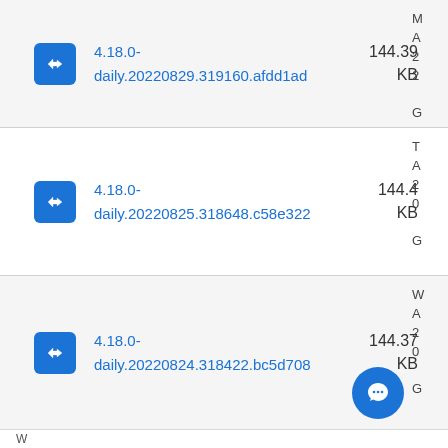4.18.0-daily.20220829.319160.afdd1ad 144.39 KB
4.18.0-daily.20220825.318648.c58e322 144.4 KB
4.18.0-daily.20220824.318422.bc5d708 144.37 KB